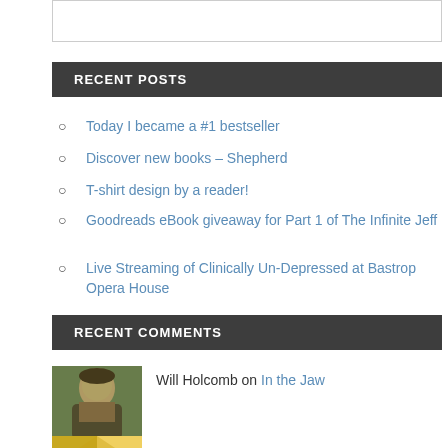RECENT POSTS
Today I became a #1 bestseller
Discover new books – Shepherd
T-shirt design by a reader!
Goodreads eBook giveaway for Part 1 of The Infinite Jeff
Live Streaming of Clinically Un-Depressed at Bastrop Opera House
RECENT COMMENTS
Will Holcomb on In the Jaw